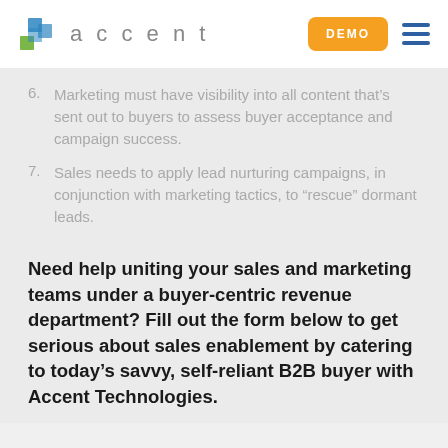accent DEMO
6. Marketing must have visibility into all content that's sent out to buyers to assess buyer acceptance and campaign success.
7. Sales needs to apply lead nurturing campaigns, in conjunction with marketing tactics, to “rescue” dormant leads.
Need help uniting your sales and marketing teams under a buyer-centric revenue department? Fill out the form below to get serious about sales enablement by catering to today’s savvy, self-reliant B2B buyer with Accent Technologies.